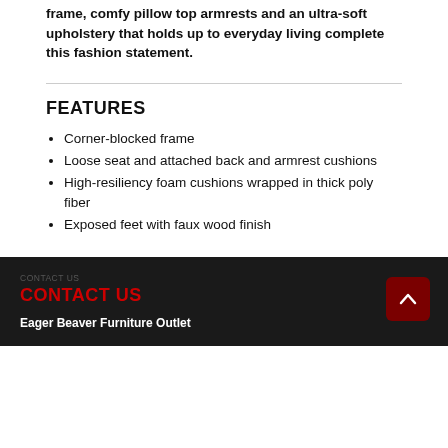frame, comfy pillow top armrests and an ultra-soft upholstery that holds up to everyday living complete this fashion statement.
FEATURES
Corner-blocked frame
Loose seat and attached back and armrest cushions
High-resiliency foam cushions wrapped in thick poly fiber
Exposed feet with faux wood finish
CONTACT US
Eager Beaver Furniture Outlet